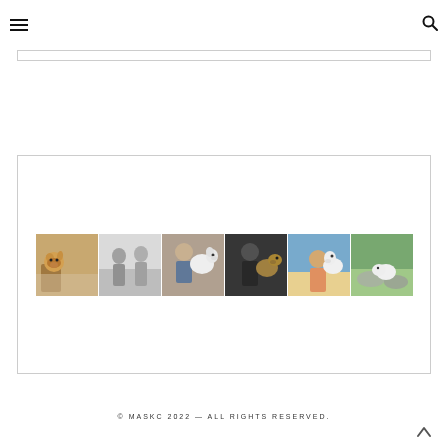≡  🔍
[Figure (photo): A horizontal strip of six thumbnail photos showing dogs and people with dogs]
© MASKC 2022 — ALL RIGHTS RESERVED.